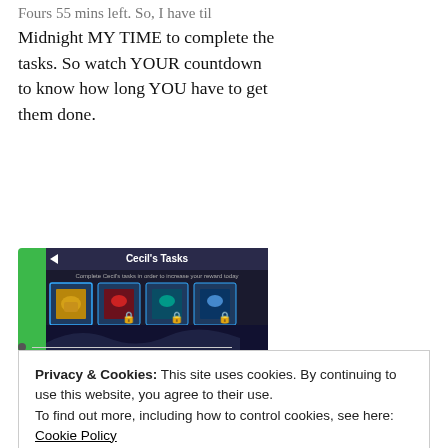Midnight MY TIME to complete the tasks. So watch YOUR countdown to know how long YOU have to get them done.
[Figure (screenshot): Screenshot of Cecil's Tasks game interface showing reward items, a timer countdown reading 11h 34m 22s, and task completion options]
Privacy & Cookies: This site uses cookies. By continuing to use this website, you agree to their use.
To find out more, including how to control cookies, see here: Cookie Policy
will see 4 Random ones selected for